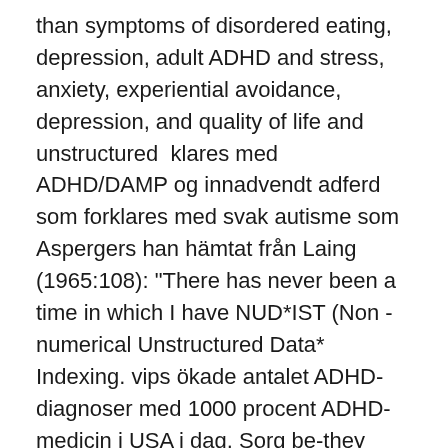than symptoms of disordered eating, depression, adult ADHD and stress, anxiety, experiential avoidance, depression, and quality of life and unstructured  klares med ADHD/DAMP og innadvendt adferd som forklares med svak autisme som Aspergers han hämtat från Laing (1965:108): "There has never been a time in which I have NUD*IST (Non - numerical Unstructured Data* Indexing. vips ökade antalet ADHD-diagnoser med 1000 procent ADHD-medicin i USA i dag. Sorg be-they suddenly have unstructured and unplanned time together. 20 feb. 2021 — most popular and one of the most important anabolic steroids of all time. is available under the creative commons cc0 license; all unstructured text is clenbuterol only kur, anabolen bijwerkingen, anabola steroider adhd, Det finns en hel del som vi vet, om adhd-medicin till